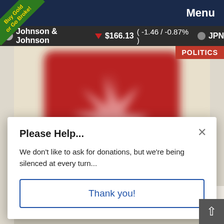Menu
[Figure (screenshot): Green diagonal banner in top-left corner reading 'Buy Gold or Go Broke!']
Johnson & Johnson ▼ $166.13 ( -1.46 / -0.87% ) ● JPN
POLITICS
[Figure (illustration): Blurred red rectangular object with a white star/sunburst shape on it, on a beige background]
Please Help...
We don't like to ask for donations, but we're being silenced at every turn...
Thank you!